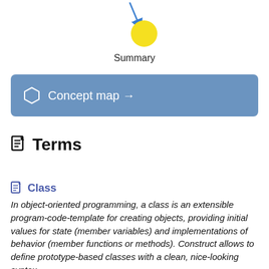[Figure (illustration): A yellow circle with a blue arrow pointing to it from above, with the label 'Summary' below it.]
Summary
[Figure (infographic): A blue rounded-rectangle button with a hexagon icon and the text 'Concept map →']
Terms
Class
In object-oriented programming, a class is an extensible program-code-template for creating objects, providing initial values for state (member variables) and implementations of behavior (member functions or methods). Construct allows to define prototype-based classes with a clean, nice-looking syntax.